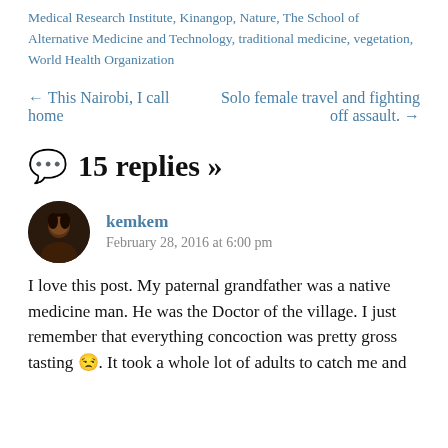Medical Research Institute, Kinangop, Nature, The School of Alternative Medicine and Technology, traditional medicine, vegetation, World Health Organization
← This Nairobi, I call home
Solo female travel and fighting off assault. →
15 replies »
kemkem
February 28, 2016 at 6:00 pm
I love this post. My paternal grandfather was a native medicine man. He was the Doctor of the village. I just remember that everything concoction was pretty gross tasting 😒. It took a whole lot of adults to catch me and